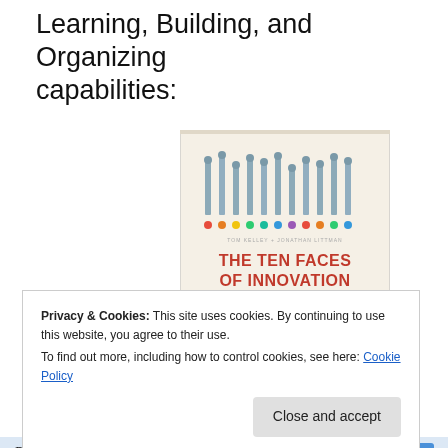Learning, Building, and Organizing capabilities:
[Figure (photo): Book cover of 'The Ten Faces of Innovation' by Tom Kelley, with vertical bar/pin illustrations and colored dots on a cream background]
Post on the go.
REPORT THIS AD
Privacy & Cookies: This site uses cookies. By continuing to use this website, you agree to their use.
To find out more, including how to control cookies, see here: Cookie Policy
Close and accept
REPORT THIS AD